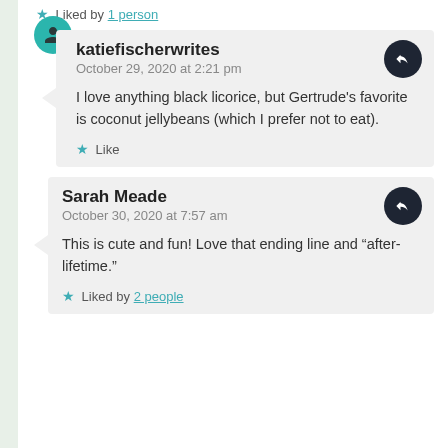Liked by 1 person
katiefischerwrites
October 29, 2020 at 2:21 pm
I love anything black licorice, but Gertrude's favorite is coconut jellybeans (which I prefer not to eat).
Like
Sarah Meade
October 30, 2020 at 7:57 am
This is cute and fun! Love that ending line and “after-lifetime.”
Liked by 2 people